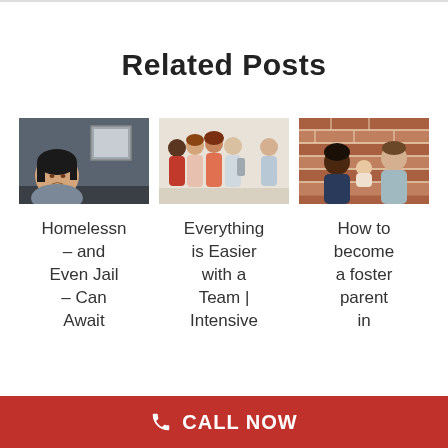Related Posts
[Figure (photo): Woman sitting alone against a wall looking downward, dark background]
[Figure (photo): Group of smiling young people standing together with backpacks]
[Figure (photo): Couple holding a baby in front of a brick wall]
Homelessness – and Even Jail – Can Await
Everything is Easier with a Team | Intensive
How to become a foster parent in
CALL NOW